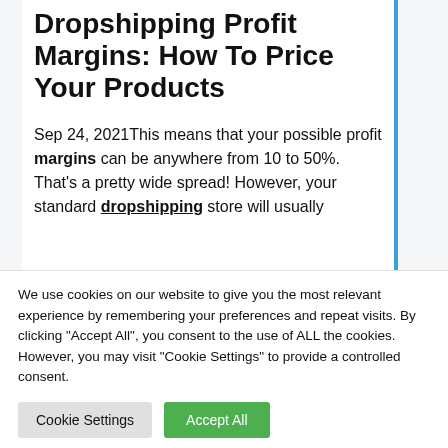Dropshipping Profit Margins: How To Price Your Products
Sep 24, 2021This means that your possible profit margins can be anywhere from 10 to 50%. That's a pretty wide spread! However, your standard dropshipping store will usually
We use cookies on our website to give you the most relevant experience by remembering your preferences and repeat visits. By clicking "Accept All", you consent to the use of ALL the cookies. However, you may visit "Cookie Settings" to provide a controlled consent.